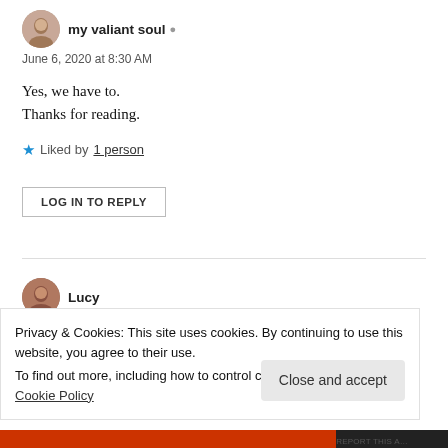my valiant soul
June 6, 2020 at 8:30 AM
Yes, we have to.
Thanks for reading.
Liked by 1 person
LOG IN TO REPLY
Lucy
June 6, 2020 at 9:55 AM
Privacy & Cookies: This site uses cookies. By continuing to use this website, you agree to their use.
To find out more, including how to control cookies, see here: Cookie Policy
Close and accept